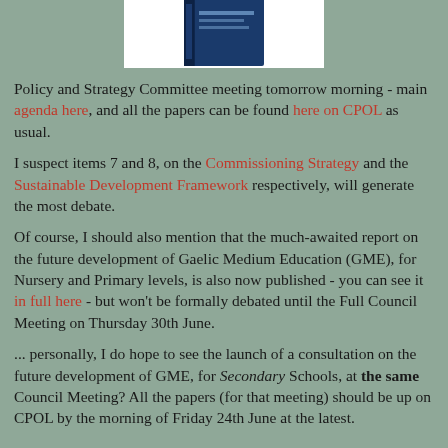[Figure (illustration): Partial view of a book or report cover at the top of the page]
Policy and Strategy Committee meeting tomorrow morning - main agenda here, and all the papers can be found here on CPOL as usual.
I suspect items 7 and 8, on the Commissioning Strategy and the Sustainable Development Framework respectively, will generate the most debate.
Of course, I should also mention that the much-awaited report on the future development of Gaelic Medium Education (GME), for Nursery and Primary levels, is also now published - you can see it in full here - but won't be formally debated until the Full Council Meeting on Thursday 30th June.
... personally, I do hope to see the launch of a consultation on the future development of GME, for Secondary Schools, at the same Council Meeting? All the papers (for that meeting) should be up on CPOL by the morning of Friday 24th June at the latest.